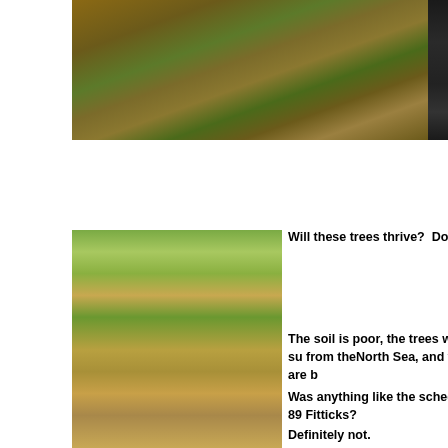[Figure (photo): Close-up of dead brown and green grass/moss on ground, top-left portion of page]
[Figure (photo): Soil with small plant/seedling, partially visible on right edge of page]
[Figure (photo): Young tree sapling with leaves in a protective tube/guard planted in bare soil, with other saplings visible in background]
Will these trees thrive?  Doubtful.
The soil is poor, the trees will be su from theNorth Sea, and weeds are b
Was anything like the scheduled 89 Fitticks?
Definitely not.